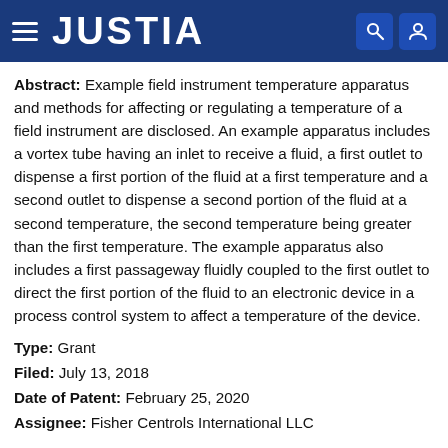JUSTIA
Abstract: Example field instrument temperature apparatus and methods for affecting or regulating a temperature of a field instrument are disclosed. An example apparatus includes a vortex tube having an inlet to receive a fluid, a first outlet to dispense a first portion of the fluid at a first temperature and a second outlet to dispense a second portion of the fluid at a second temperature, the second temperature being greater than the first temperature. The example apparatus also includes a first passageway fluidly coupled to the first outlet to direct the first portion of the fluid to an electronic device in a process control system to affect a temperature of the device.
Type: Grant
Filed: July 13, 2018
Date of Patent: February 25, 2020
Assignee: Fisher Centrols International LLC